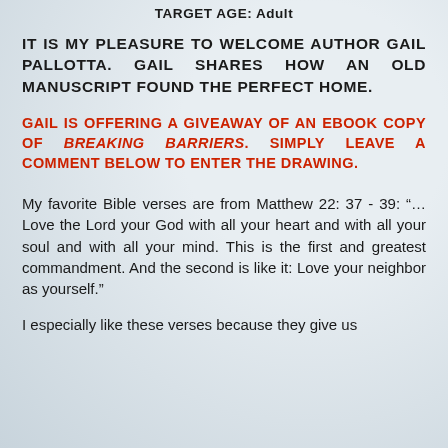TARGET AGE: Adult
IT IS MY PLEASURE TO WELCOME AUTHOR GAIL PALLOTTA. GAIL SHARES HOW AN OLD MANUSCRIPT FOUND THE PERFECT HOME.
GAIL IS OFFERING A GIVEAWAY OF AN EBOOK COPY OF BREAKING BARRIERS. SIMPLY LEAVE A COMMENT BELOW TO ENTER THE DRAWING.
My favorite Bible verses are from Matthew 22: 37 - 39: “…Love the Lord your God with all your heart and with all your soul and with all your mind. This is the first and greatest commandment. And the second is like it: Love your neighbor as yourself.”
I especially like these verses because they give us